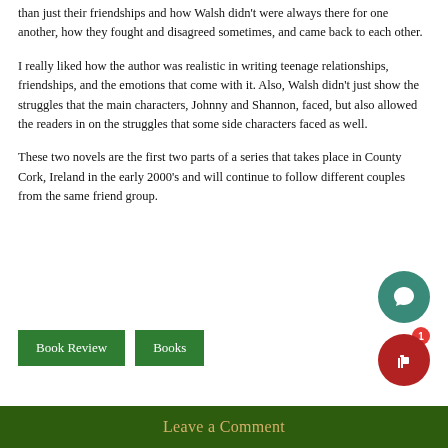than just their friendships and how Walsh didn't were always there for one another, how they fought and disagreed sometimes, and came back to each other.
I really liked how the author was realistic in writing teenage relationships, friendships, and the emotions that come with it. Also, Walsh didn't just show the struggles that the main characters, Johnny and Shannon, faced, but also allowed the readers in on the struggles that some side characters faced as well.
These two novels are the first two parts of a series that takes place in County Cork, Ireland in the early 2000's and will continue to follow different couples from the same friend group.
Book Review
Books
Leave a Comment